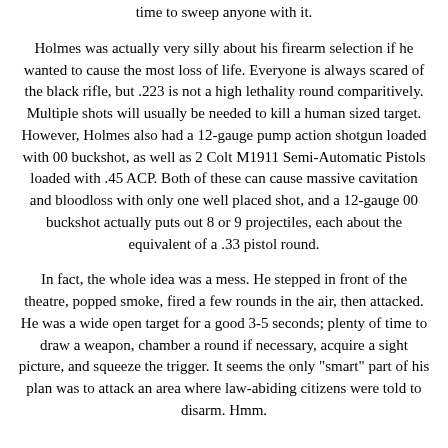time to sweep anyone with it.
Holmes was actually very silly about his firearm selection if he wanted to cause the most loss of life. Everyone is always scared of the black rifle, but .223 is not a high lethality round comparitively. Multiple shots will usually be needed to kill a human sized target. However, Holmes also had a 12-gauge pump action shotgun loaded with 00 buckshot, as well as 2 Colt M1911 Semi-Automatic Pistols loaded with .45 ACP. Both of these can cause massive cavitation and bloodloss with only one well placed shot, and a 12-gauge 00 buckshot actually puts out 8 or 9 projectiles, each about the equivalent of a .33 pistol round.
In fact, the whole idea was a mess. He stepped in front of the theatre, popped smoke, fired a few rounds in the air, then attacked. He was a wide open target for a good 3-5 seconds; plenty of time to draw a weapon, chamber a round if necessary, acquire a sight picture, and squeeze the trigger. It seems the only "smart" part of his plan was to attack an area where law-abiding citizens were told to disarm. Hmm.